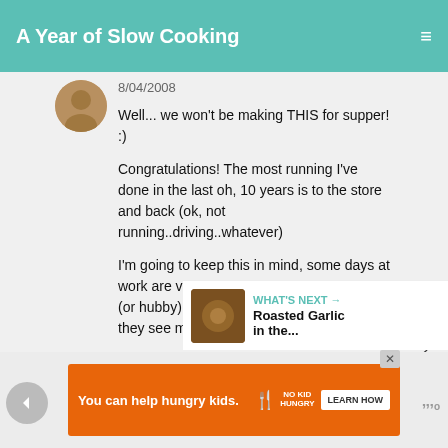A Year of Slow Cooking
8/04/2008
Well... we won't be making THIS for supper! :)

Congratulations! The most running I've done in the last oh, 10 years is to the store and back (ok, not running..driving..whatever)

I'm going to keep this in mind, some days at work are very long.. I wonder if my daughter (or hubby) will let me cook in my crock after they see me "relaxing" in it?
DELETE
WHAT'S NEXT → Roasted Garlic in the...
[Figure (infographic): Ad banner: orange background with text 'You can help hungry kids.' with No Kid Hungry logo and LEARN HOW button]